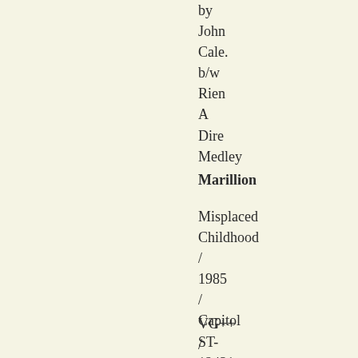by
John
Cale.
b/w
Rien
A
Dire
Medley
Marillion
Misplaced
Childhood
/
1985
/
Capitol
ST-
12431
VG++
/
VG++